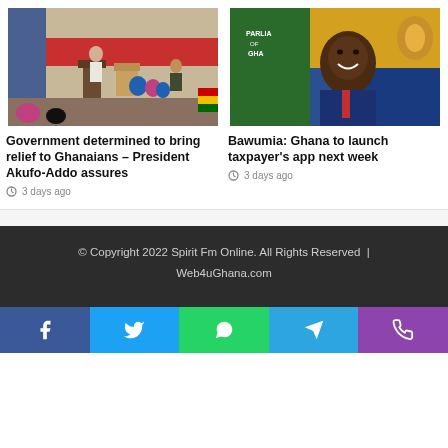[Figure (photo): Person speaking at a podium in a gym-like setting with military personnel and audience]
Government determined to bring relief to Ghanaians – President Akufo-Addo assures
3 days ago
[Figure (photo): Man in blue suit smiling in front of Parliament of Ghana banner and colorful decorations]
Bawumia: Ghana to launch taxpayer's app next week
3 days ago
© Copyright 2022 Spirit Fm Online. All Rights Reserved  |  Web4uGhana.com